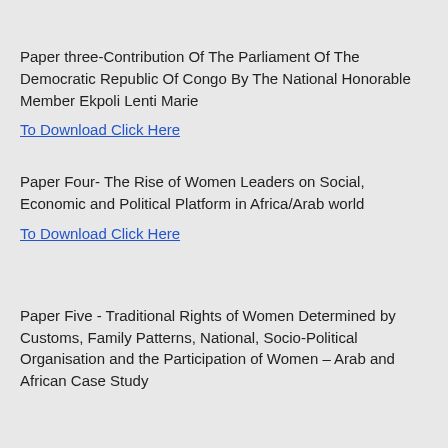Paper three-Contribution Of The Parliament Of The Democratic Republic Of Congo By The National Honorable Member Ekpoli Lenti Marie
To Download Click Here
Paper Four- The Rise of Women Leaders on Social, Economic and Political Platform in Africa/Arab world
To Download Click Here
Paper Five - Traditional Rights of Women Determined by Customs, Family Patterns, National, Socio-Political Organisation and the Participation of Women – Arab and African Case Study